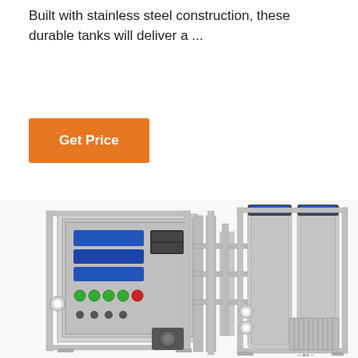Built with stainless steel construction, these durable tanks will deliver a ...
Get Price
[Figure (photo): Industrial water purification or filtration system with stainless steel tanks, control panel with blue displays, various gauges, pipes, and pumps mounted on a metal frame.]